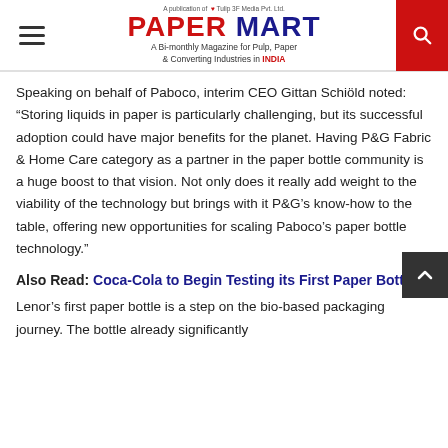PAPER MART — A Bi-monthly Magazine for Pulp, Paper & Converting Industries in INDIA
Speaking on behalf of Paboco, interim CEO Gittan Schiöld noted: “Storing liquids in paper is particularly challenging, but its successful adoption could have major benefits for the planet. Having P&G Fabric & Home Care category as a partner in the paper bottle community is a huge boost to that vision. Not only does it really add weight to the viability of the technology but brings with it P&G’s know-how to the table, offering new opportunities for scaling Paboco’s paper bottle technology.”
Also Read: Coca-Cola to Begin Testing its First Paper Bottle
Lenor’s first paper bottle is a step on the bio-based packaging journey. The bottle already significantly